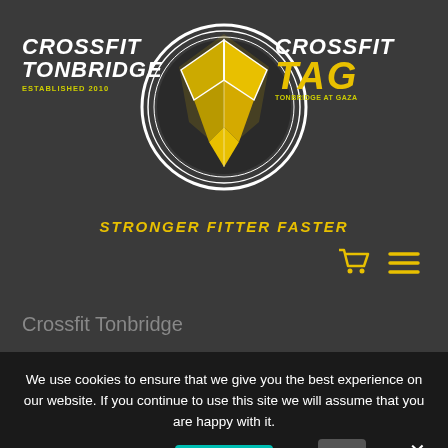[Figure (logo): CrossFit Tonbridge and CrossFit TAG logos with central emblem showing yellow geometric arrow/shield design in a circular ring. Left: CROSSFIT TONBRIDGE ESTABLISHED 2010. Right: CROSSFIT TAG TONBRIDGE AT GAZA. Tagline: STRONGER FITTER FASTER]
Crossfit Tonbridge
We use cookies to ensure that we give you the best experience on our website. If you continue to use this site we will assume that you are happy with it.
Ok